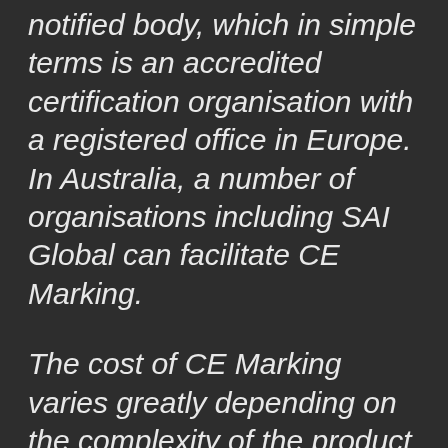notified body, which in simple terms is an accredited certification organisation with a registered office in Europe. In Australia, a number of organisations including SAI Global can facilitate CE Marking.
The cost of CE Marking varies greatly depending on the complexity of the product and the directive under which it needs to be certified. It could range from a few thousand dollars for a self-declared product to tens of thousands of dollars for a product that requires third